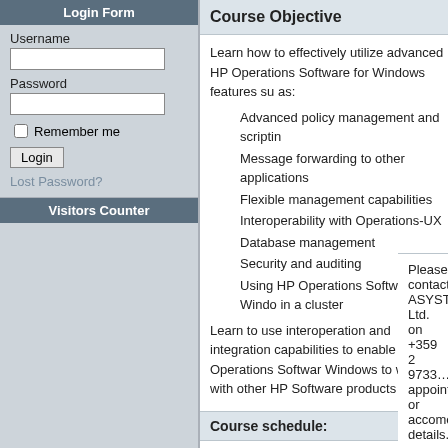Login Form
Username
Password
Remember me
Login
Lost Password?
Visitors Counter
Course Objective
Learn how to effectively utilize advanced HP Operations Software for Windows features such as:
Advanced policy management and scripting
Message forwarding to other applications
Flexible management capabilities
Interoperability with Operations-UX
Database management
Security and auditing
Using HP Operations Software for Windows in a cluster
Learn to use interoperation and integration capabilities to enable HP Operations Software Windows to work with other HP Software products
Course schedule:
|  |  |
| --- | --- |
| N/A | There is currently no schedule available |
Please contact ASYSTA Ltd. on +359 2 9733... appointment or accomodation details.